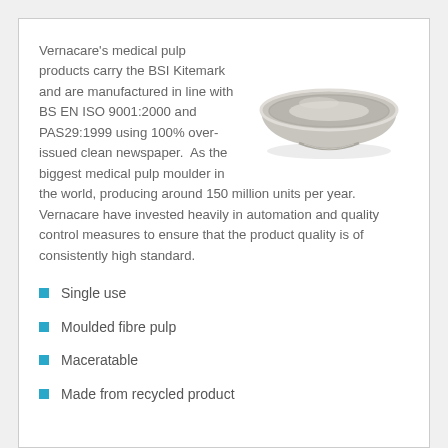Vernacare's medical pulp products carry the BSI Kitemark and are manufactured in line with BS EN ISO 9001:2000 and PAS29:1999 using 100% over-issued clean newspaper.  As the biggest medical pulp moulder in the world, producing around 150 million units per year.  Vernacare have invested heavily in automation and quality control measures to ensure that the product quality is of consistently high standard.
[Figure (photo): A grey moulded pulp medical bowl, circular with a wide rim, viewed from slightly above at an angle.]
Single use
Moulded fibre pulp
Maceratable
Made from recycled product